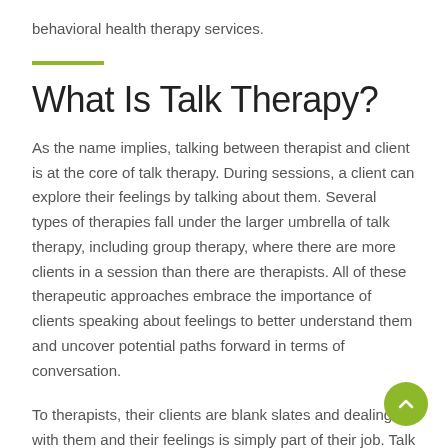behavioral health therapy services.
What Is Talk Therapy?
As the name implies, talking between therapist and client is at the core of talk therapy. During sessions, a client can explore their feelings by talking about them. Several types of therapies fall under the larger umbrella of talk therapy, including group therapy, where there are more clients in a session than there are therapists. All of these therapeutic approaches embrace the importance of clients speaking about feelings to better understand them and uncover potential paths forward in terms of conversation.
To therapists, their clients are blank slates and dealing with them and their feelings is simply part of their job. Talk